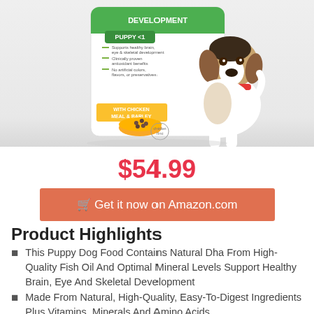[Figure (photo): Hill's Science Diet puppy dog food bag with a beagle puppy. Green 'DEVELOPMENT' label, 'PUPPY <1' green badge, 'WITH CHICKEN MEAL & BARLEY' yellow label, a bowl of kibble. White bag with product claims text.]
$54.99
🛒 Get it now on Amazon.com
Product Highlights
This Puppy Dog Food Contains Natural Dha From High-Quality Fish Oil And Optimal Mineral Levels Support Healthy Brain, Eye And Skeletal Development
Made From Natural, High-Quality, Easy-To-Digest Ingredients Plus Vitamins, Minerals And Amino Acids